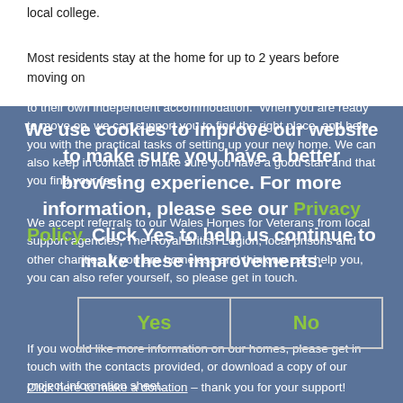local college.
Most residents stay at the home for up to 2 years before moving on to their own independent accommodation.  When you are ready to move on, we can support you to find the right place, and help you with the practical tasks of setting up your new home. We can also keep in contact to make sure you have a good start and that you find your feet.
We use cookies to improve our website to make sure you have a better browsing experience. For more information, please see our Privacy Policy. Click Yes to help us continue to make these improvements.
We accept referrals to our Wales Homes for Veterans from local support agencies, The Royal British Legion, local prisons and other charities. If you are homeless and think we can help you, you can also refer yourself, so please get in touch.
If you would like more information on our homes, please get in touch with the contacts provided, or download a copy of our project information sheet.
Click here to make a donation – thank you for your support!